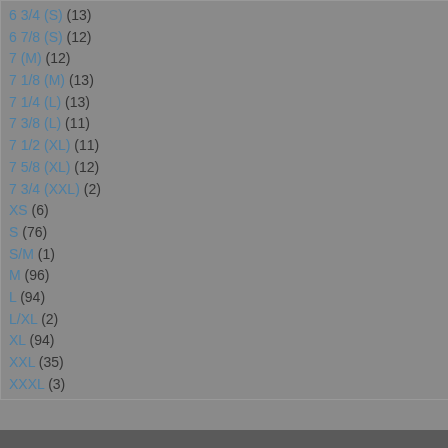6 3/4 (S) (13)
6 7/8 (S) (12)
7 (M) (12)
7 1/8 (M) (13)
7 1/4 (L) (13)
7 3/8 (L) (11)
7 1/2 (XL) (11)
7 5/8 (XL) (12)
7 3/4 (XXL) (2)
XS (6)
S (76)
S/M (1)
M (96)
L (94)
L/XL (2)
XL (94)
XXL (35)
XXXL (3)